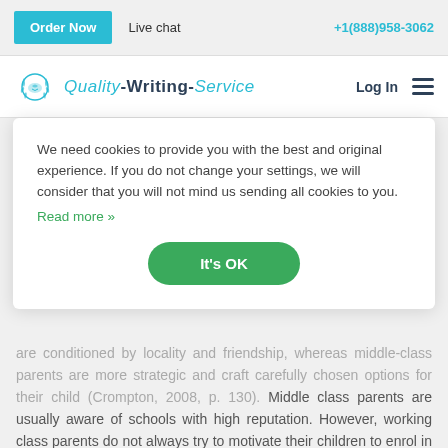Order Now   Live chat   +1(888)958-3062
[Figure (logo): Quality-Writing-Service logo with laurel wreath icon, Order Now button, Live chat link, phone number, Log In and hamburger menu]
We need cookies to provide you with the best and original experience. If you do not change your settings, we will consider that you will not mind us sending all cookies to you. Read more »
It's OK
are conditioned by locality and friendship, whereas middle-class parents are more strategic and craft carefully chosen options for their child (Crompton, 2008, p. 130). Middle class parents are usually aware of schools with high reputation. However, working class parents do not always try to motivate their children to enrol in prestigious institutions. The main reason is that they have a